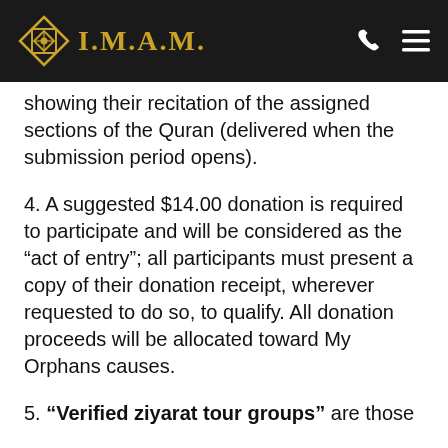I.M.A.M.
showing their recitation of the assigned sections of the Quran (delivered when the submission period opens).
4. A suggested $14.00 donation is required to participate and will be considered as the “act of entry”; all participants must present a copy of their donation receipt, wherever requested to do so, to qualify. All donation proceeds will be allocated toward My Orphans causes.
5. “Verified ziyarat tour groups” are those